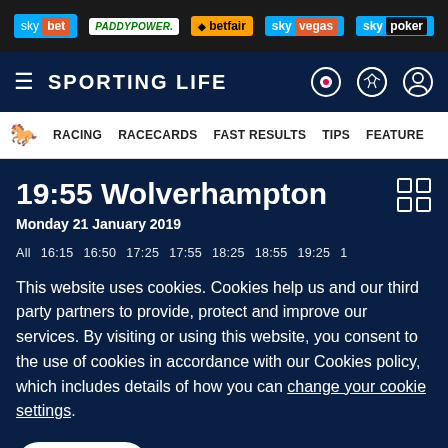[Figure (screenshot): Sponsor bar with logos: sky bet, PADDYPOWER., betfair, sky vegas, sky poker]
SPORTING LIFE
RACING   RACECARDS   FAST RESULTS   TIPS   FEATURE
19:55 Wolverhampton
Monday 21 January 2019
All   16:15   16:50   17:25   17:55   18:25   18:55   19:25   1
This website uses cookies. Cookies help us and our third party partners to provide, protect and improve our services. By visiting or using this website, you consent to the use of cookies in accordance with our Cookies policy, which includes details of how you can change your cookie settings.
I accept